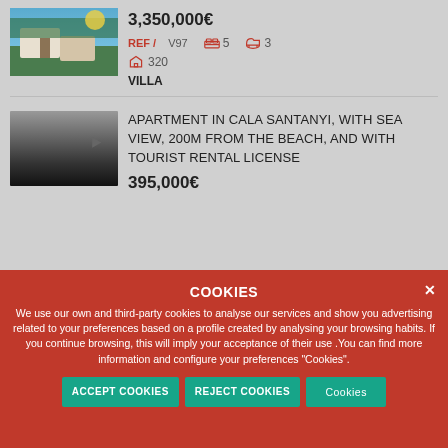[Figure (photo): Property listing photo showing a villa with sea view, trees visible]
3,350,000€
REF / V97  5 beds  3 baths  320 sqm
VILLA
[Figure (photo): Dark gradient placeholder image for apartment listing with crescent moon icon]
APARTMENT IN CALA SANTANYI, WITH SEA VIEW, 200M FROM THE BEACH, AND WITH TOURIST RENTAL LICENSE
395,000€
COOKIES
We use our own and third-party cookies to analyse our services and show you advertising related to your preferences based on a profile created by analysing your browsing habits. If you continue browsing, this will imply your acceptance of their use .You can find more information and configure your preferences "Cookies".
ACCEPT COOKIES | REJECT COOKIES | Cookies